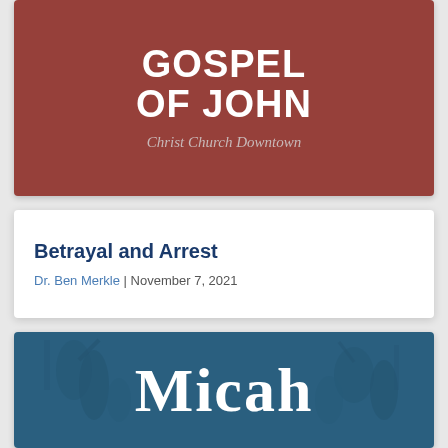[Figure (illustration): Red/maroon background card with bold white text reading GOSPEL OF JOHN and italic subtitle Christ Church Downtown]
GOSPEL OF JOHN
Christ Church Downtown
Betrayal and Arrest
Dr. Ben Merkle | November 7, 2021
[Figure (illustration): Teal/blue background card with large serif white text reading Micah, overlaid on an engraving of biblical figures]